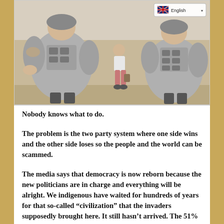[Figure (illustration): A cartoon illustration showing armed soldiers/police in tactical gear. A language selector badge in the top right corner shows a UK flag and the text 'English' with a dropdown arrow.]
Nobody knows what to do.
The problem is the two party system where one side wins and the other side loses so the people and the world can be scammed.
The media says that democracy is now reborn because the new politicians are in charge and everything will be alright. We indigenous have waited for hundreds of years for that so-called “civilization” that the invaders supposedly brought here. It still hasn’t arrived. The 51% majority system is not democracy. It’s corporatism. We tried to teach them. When the losers of an election resort to violence, it shows the frailty of the system they follow. People are